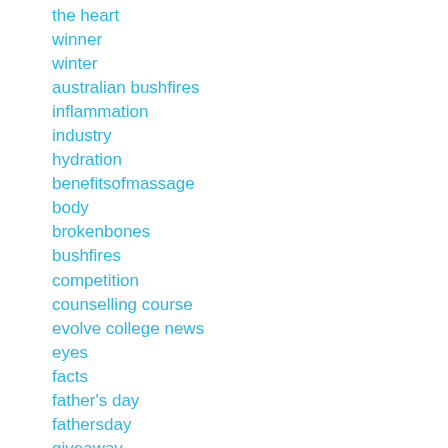the heart
winner
winter
australian bushfires
inflammation
industry
hydration
benefitsofmassage
body
brokenbones
bushfires
competition
counselling course
evolve college news
eyes
facts
father's day
fathersday
giveaway